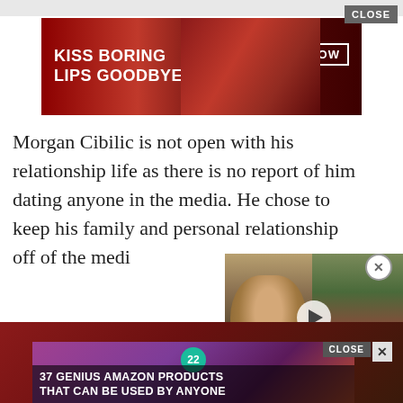[Figure (photo): Advertisement banner: KISS BORING LIPS GOODBYE with woman's face and red lips, SHOP NOW button and Macy's logo]
Morgan Cibilic is not open with his relationship life as there is no report of him dating anyone in the media. He chose to keep his family and personal relationship off of the medi...
[Figure (screenshot): Video overlay with two side-by-side thumbnails of women and a play button]
[Figure (photo): Advertisement: 37 GENIUS AMAZON PRODUCTS THAT CAN BE USED BY ANYONE with purple headphones on wooden table, channel 22 logo, close X button]